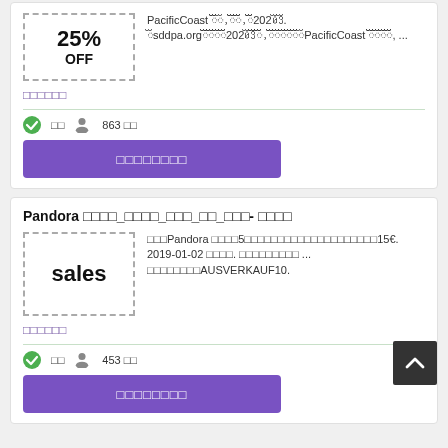[Figure (other): 25% OFF coupon box with dashed border]
PacificCoast 쿠폰,할인코드,최대2020년3월. ✅sddpa.org에서제공하는✅2020년3월쿠폰코드,바우처코드등PacificCoast 온라인쇼핑몰의, ...
더보기
✅ 사용  👤 863 명
쿠폰받으러가기
Pandora 쿠폰_할인코드_최대_할인_코드- 온라인
[Figure (other): sales coupon box with dashed border]
🔴🔴Pandora 매달5개의프리미엄쿠폰을모아제공해드립니다여기서15€. 2019-01-02 까지. 유효코드사용 ... 코드입력란에AUSVERKAUF10.
더보기
✅ 사용  👤 453 명
쿠폰받으러가기